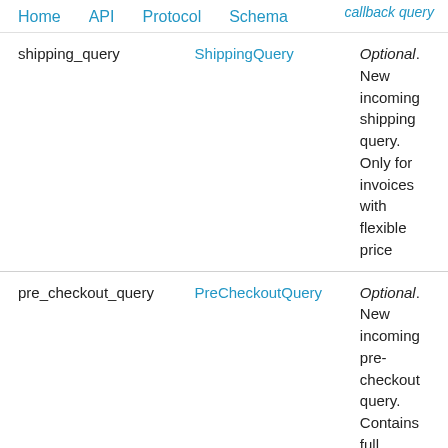Home   API   Protocol   Schema
callback query
| Field | Type | Description |
| --- | --- | --- |
| shipping_query | ShippingQuery | Optional. New incoming shipping query. Only for invoices with flexible price |
| pre_checkout_query | PreCheckoutQuery | Optional. New incoming pre-checkout query. Contains full information about checkout |
| poll | Poll | Optional. New poll state. Bots receive only updates about stopped polls and polls, which are sent by the bot. |